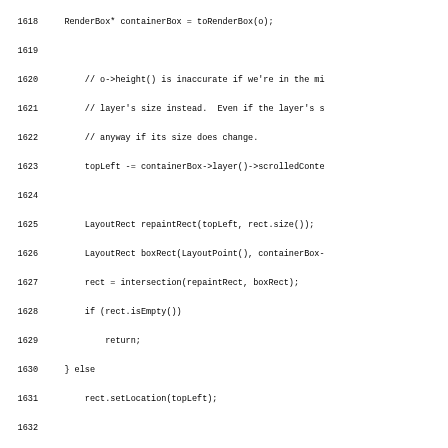[Figure (screenshot): Source code listing in monospace font showing C++ code for RenderBox repaint functions, lines 1618-1650]